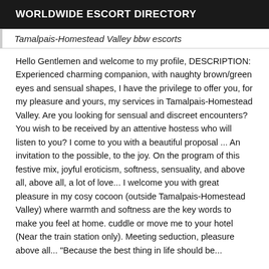WORLDWIDE ESCORT DIRECTORY
Tamalpais-Homestead Valley bbw escorts
Hello Gentlemen and welcome to my profile, DESCRIPTION: Experienced charming companion, with naughty brown/green eyes and sensual shapes, I have the privilege to offer you, for my pleasure and yours, my services in Tamalpais-Homestead Valley. Are you looking for sensual and discreet encounters? You wish to be received by an attentive hostess who will listen to you? I come to you with a beautiful proposal ... An invitation to the possible, to the joy. On the program of this festive mix, joyful eroticism, softness, sensuality, and above all, above all, a lot of love... I welcome you with great pleasure in my cosy cocoon (outside Tamalpais-Homestead Valley) where warmth and softness are the key words to make you feel at home. cuddle or move me to your hotel (Near the train station only). Meeting seduction, pleasure above all... "Because the best thing in life should be...